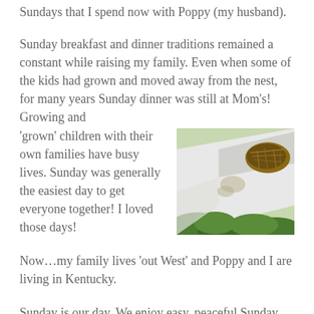Sundays that I spend now with Poppy (my husband).
Sunday breakfast and dinner traditions remained a constant while raising my family. Even when some of the kids had grown and moved away from the nest, for many years Sunday dinner was still at Mom's! Growing and 'grown' children with their own families have busy lives. Sunday was generally the easiest day to get everyone together! I loved those days!
[Figure (photo): A bird nest tucked against a white painted surface or beam, with green foliage visible below.]
Now…my family lives 'out West' and Poppy and I are living in Kentucky.
Sunday is our day. We enjoy easy, peaceful Sunday mornings here in our empty nest and I enjoy making us a special breakfast.